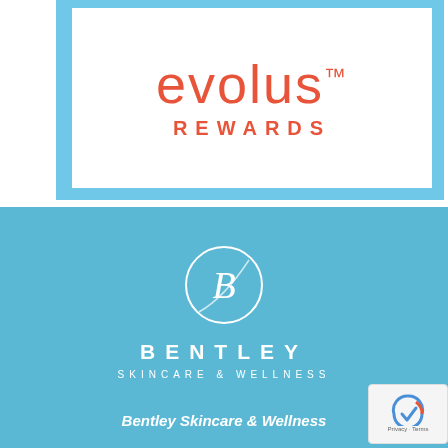[Figure (logo): Evolus Rewards logo — coral/salmon colored text 'evolus™' with 'REWARDS' below, inside a light blue framed card]
[Figure (logo): Bentley Skincare & Wellness logo — circular stylized B monogram in white on light blue background with 'BENTLEY' and 'SKINCARE & WELLNESS' text]
Bentley Skincare & Wellness